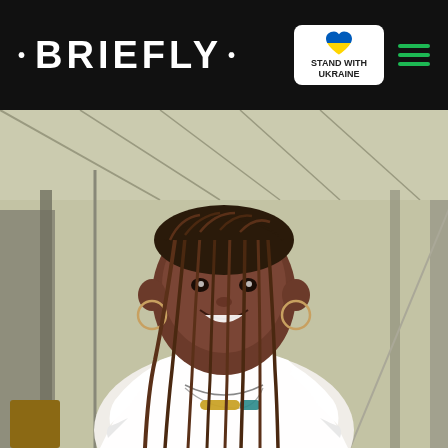• BRIEFLY •
[Figure (photo): A smiling woman with long brown braids wearing a white ruffled-sleeve top and a teal and gold necklace, standing in front of a greenhouse-like structure with translucent panels.]